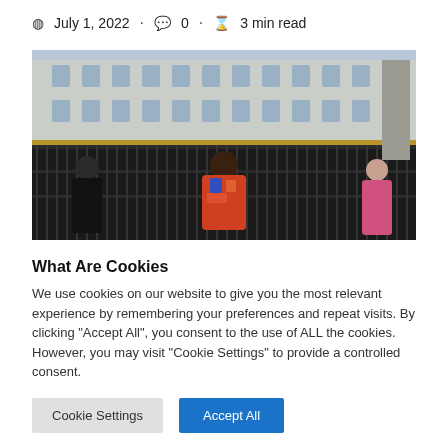July 1, 2022 · 0 · 3 min read
[Figure (photo): Woman in colorful shirt standing in front of Buckingham Palace gates with other visitors]
What Are Cookies
We use cookies on our website to give you the most relevant experience by remembering your preferences and repeat visits. By clicking "Accept All", you consent to the use of ALL the cookies. However, you may visit "Cookie Settings" to provide a controlled consent.